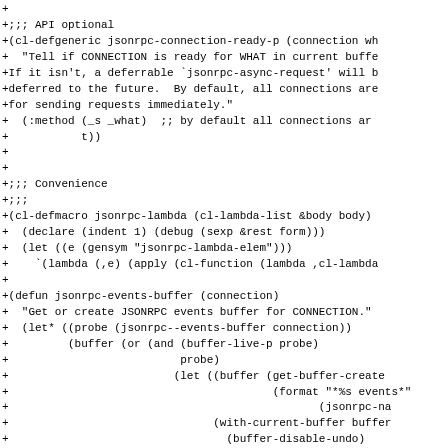+
+;;; API optional
+(cl-defgeneric jsonrpc-connection-ready-p (connection wh
+  "Tell if CONNECTION is ready for WHAT in current buffe
+If it isn't, a deferrable `jsonrpc-async-request' will b
+deferred to the future.  By default, all connections are
+for sending requests immediately."
+  (:method (_s _what)  ;; by default all connections ar
+           t))
+
+
+;;; Convenience
+;;;
+(cl-defmacro jsonrpc-lambda (cl-lambda-list &body body)
+  (declare (indent 1) (debug (sexp &rest form)))
+  (let ((e (gensym "jsonrpc-lambda-elem")))
+    `(lambda (,e) (apply (cl-function (lambda ,cl-lambda
+
+(defun jsonrpc-events-buffer (connection)
+  "Get or create JSONRPC events buffer for CONNECTION."
+  (let* ((probe (jsonrpc--events-buffer connection))
+         (buffer (or (and (buffer-live-p probe)
+                          probe)
+                         (let ((buffer (get-buffer-create
+                                        (format "*%s events"
+                                               (jsonrpc-na
+                               (with-current-buffer buffer
+                                 (buffer-disable-undo)
+                                 (read-only-mode t)
+                                 (setf (jsonrpc--events-buffer (